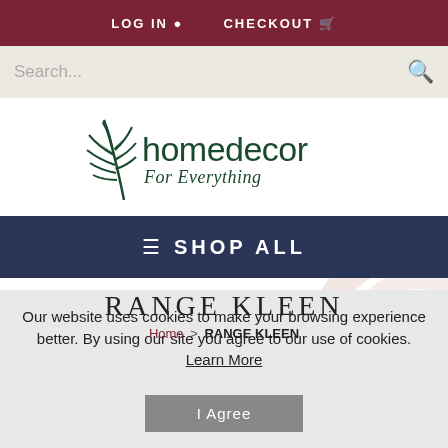LOG IN  CHECKOUT
Search...
[Figure (logo): homedecor For Everything logo with a stylized dark green palm leaf icon]
SHOP ALL
RANGE KLEEN
Home > RANGE KLEEN
Our website uses cookies to make your browsing experience better. By using our site you agree to our use of cookies. Learn More
I Agree